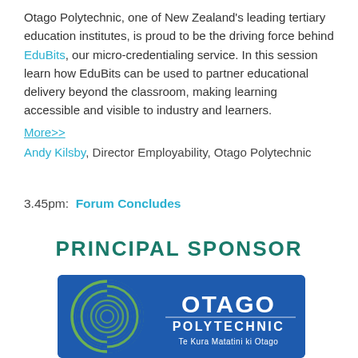Otago Polytechnic, one of New Zealand's leading tertiary education institutes, is proud to be the driving force behind EduBits, our micro-credentialing service. In this session learn how EduBits can be used to partner educational delivery beyond the classroom, making learning accessible and visible to industry and learners.
More>>
Andy Kilsby, Director Employability, Otago Polytechnic
3.45pm:  Forum Concludes
PRINCIPAL SPONSOR
[Figure (logo): Otago Polytechnic logo on a blue background with green spiral graphic on the left and white text 'OTAGO POLYTECHNIC Te Kura Matatini ki Otago' on the right]